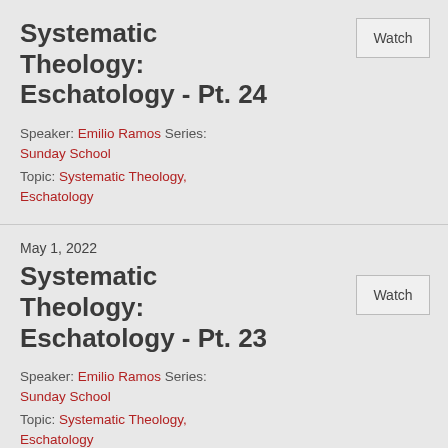Systematic Theology: Eschatology - Pt. 24
Speaker: Emilio Ramos Series: Sunday School
Topic: Systematic Theology, Eschatology
May 1, 2022
Systematic Theology: Eschatology - Pt. 23
Speaker: Emilio Ramos Series: Sunday School
Topic: Systematic Theology, Eschatology